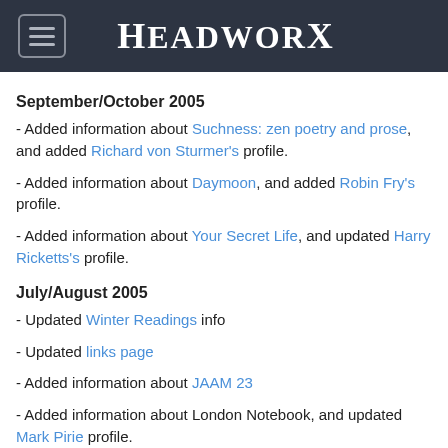HeadworX
September/October 2005
- Added information about Suchness: zen poetry and prose, and added Richard von Sturmer's profile.
- Added information about Daymoon, and added Robin Fry's profile.
- Added information about Your Secret Life, and updated Harry Ricketts's profile.
July/August 2005
- Updated Winter Readings info
- Updated links page
- Added information about JAAM 23
- Added information about London Notebook, and updated Mark Pirie profile.